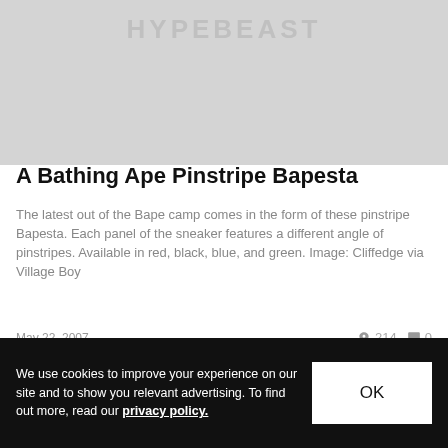[Figure (logo): HYPEBEAST logo on grey placeholder image background]
A Bathing Ape Pinstripe Bapesta
The latest out of the Bape camp comes in the form of these pinstripe Bapesta. Each panel of the sneaker features a different angle of pinstripes. Available in red, black, blue, and green. Image: Cliffedge via Village Boy
May 22, 2007    🔥 214   💬 0
[Figure (photo): Second article placeholder image]
We use cookies to improve your experience on our site and to show you relevant advertising. To find out more, read our privacy policy.